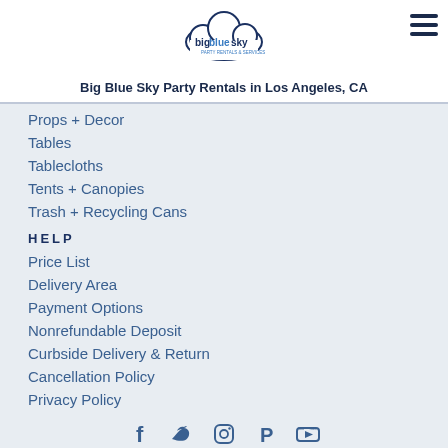[Figure (logo): Big Blue Sky party rentals logo — cloud shape with 'bigbluesky' text inside]
Big Blue Sky Party Rentals in Los Angeles, CA
Props + Decor
Tables
Tablecloths
Tents + Canopies
Trash + Recycling Cans
HELP
Price List
Delivery Area
Payment Options
Nonrefundable Deposit
Curbside Delivery & Return
Cancellation Policy
Privacy Policy
[Figure (other): Social media icons: Facebook, Twitter, Instagram, Pinterest, YouTube]